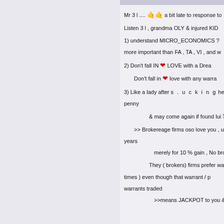Mr 3 l  .... 🤙🤙  a bit late to response to
Listen 3 l , grandma OLY & injured KID
1) understand MICRO_ECONOMICS ? more important than FA , TA , VI , and w
2)  Don't fall IN ❤ LOVE  with a Drea
Don't fall in ❤ love  with any warra
3)  Like a lady after s . u c k i n g her j penny
     & may come again if found lui $
>> Brokereage firms oso love you , u years
merely for 10 %  gain , No brokers
They ( brokers) firms  prefer warr times )       even  though that warrant / p warrants  traded
>>means  JACKPOT  to you &